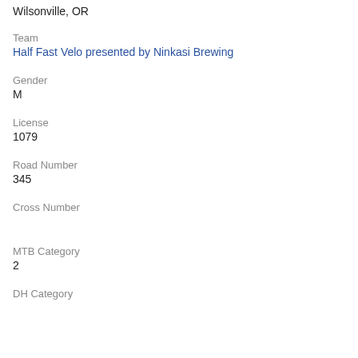Wilsonville, OR
Team
Half Fast Velo presented by Ninkasi Brewing
Gender
M
License
1079
Road Number
345
Cross Number
MTB Category
2
DH Category